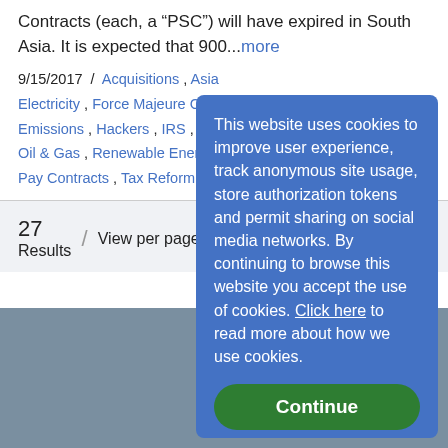Contracts (each, a “PSC”) will have expired in South Asia. It is expected that 900...more
9/15/2017 / Acquisitions , Asia , Electricity , Force Majeure Cla... , Emissions , Hackers , IRS , Liqu... , Oil & Gas , Renewable Energy , ... , Pay Contracts , Tax Reform
27 Results / View per page 25
This website uses cookies to improve user experience, track anonymous site usage, store authorization tokens and permit sharing on social media networks. By continuing to browse this website you accept the use of cookies. Click here to read more about how we use cookies.
Continue
Back to
Home